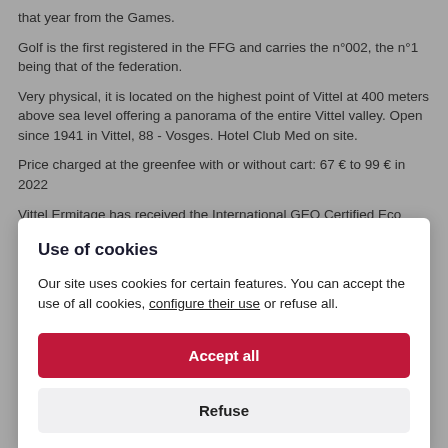that year from the Games.
Golf is the first registered in the FFG and carries the n°002, the n°1 being that of the federation.
Very physical, it is located on the highest point of Vittel at 400 meters above sea level offering a panorama of the entire Vittel valley. Open since 1941 in Vittel, 88 - Vosges. Hotel Club Med on site.
Price charged at the greenfee with or without cart: 67 € to 99 € in 2022
Vittel Ermitage has received the International GEO Certified Eco Label and thus guarantees the preservation of the Vittel spring that crosses the route.
Use of cookies
Our site uses cookies for certain features. You can accept the use of all cookies, configure their use or refuse all.
Accept all
Refuse